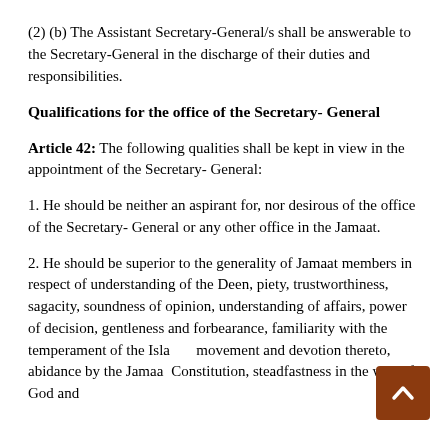(2) (b) The Assistant Secretary-General/s shall be answerable to the Secretary-General in the discharge of their duties and responsibilities.
Qualifications for the office of the Secretary- General
Article 42: The following qualities shall be kept in view in the appointment of the Secretary- General:
1. He should be neither an aspirant for, nor desirous of the office of the Secretary- General or any other office in the Jamaat.
2. He should be superior to the generality of Jamaat members in respect of understanding of the Deen, piety, trustworthiness, sagacity, soundness of opinion, understanding of affairs, power of decision, gentleness and forbearance, familiarity with the temperament of the Isla... movement and devotion thereto, abidance by the Jamaat Constitution, steadfastness in the way of God and